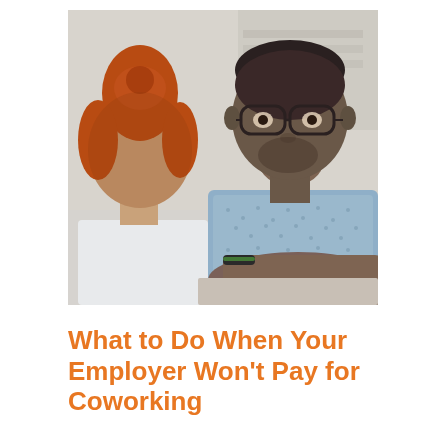[Figure (photo): Two people in conversation. On the left, a person with red hair in a bun seen from behind wearing a light blue/white top. On the right, a Black man with glasses wearing a light blue patterned shirt, resting his hand on his mouth in a thoughtful or concerned expression. Background shows bookshelves in soft focus.]
What to Do When Your Employer Won't Pay for Coworking